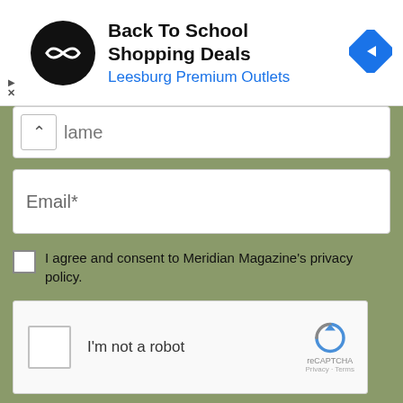[Figure (screenshot): Ad banner: Back To School Shopping Deals at Leesburg Premium Outlets with logo and navigation icon]
Name
Email*
I agree and consent to Meridian Magazine's privacy policy.
[Figure (screenshot): reCAPTCHA widget with checkbox labeled I'm not a robot]
Submit